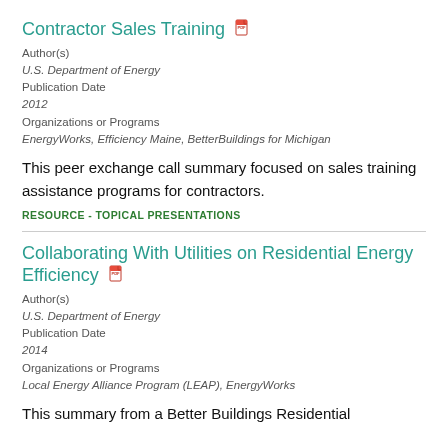Contractor Sales Training
Author(s)
U.S. Department of Energy
Publication Date
2012
Organizations or Programs
EnergyWorks, Efficiency Maine, BetterBuildings for Michigan
This peer exchange call summary focused on sales training assistance programs for contractors.
RESOURCE - TOPICAL PRESENTATIONS
Collaborating With Utilities on Residential Energy Efficiency
Author(s)
U.S. Department of Energy
Publication Date
2014
Organizations or Programs
Local Energy Alliance Program (LEAP), EnergyWorks
This summary from a Better Buildings Residential